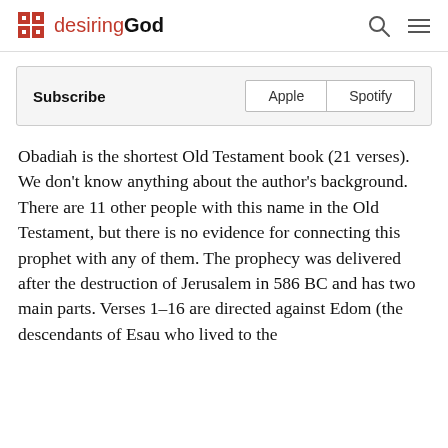desiringGod
| Subscribe | Apple | Spotify |
| --- | --- | --- |
Obadiah is the shortest Old Testament book (21 verses). We don't know anything about the author's background. There are 11 other people with this name in the Old Testament, but there is no evidence for connecting this prophet with any of them. The prophecy was delivered after the destruction of Jerusalem in 586 BC and has two main parts. Verses 1–16 are directed against Edom (the descendants of Esau who lived to the